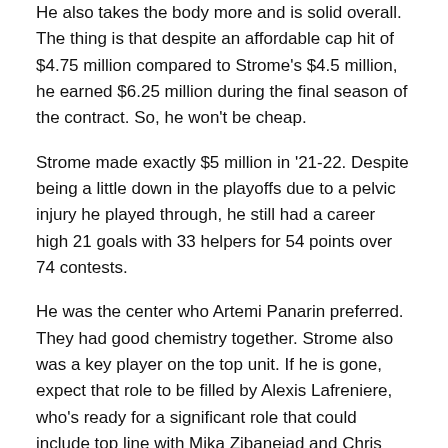He also takes the body more and is solid overall. The thing is that despite an affordable cap hit of $4.75 million compared to Strome's $4.5 million, he earned $6.25 million during the final season of the contract. So, he won't be cheap.
Strome made exactly $5 million in '21-22. Despite being a little down in the playoffs due to a pelvic injury he played through, he still had a career high 21 goals with 33 helpers for 54 points over 74 contests.
He was the center who Artemi Panarin preferred. They had good chemistry together. Strome also was a key player on the top unit. If he is gone, expect that role to be filled by Alexis Lafreniere, who's ready for a significant role that could include top line with Mika Zibanejad and Chris Kreider.